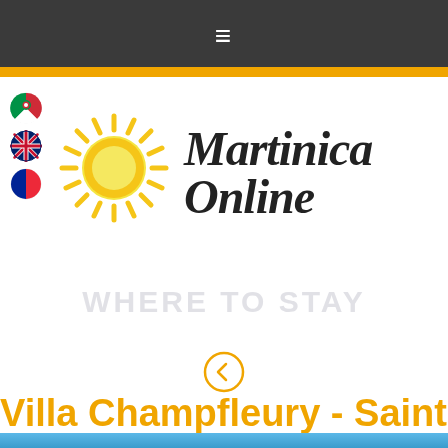☰ (navigation menu)
[Figure (logo): Martinica Online logo with sun graphic and cursive text reading 'Martinica Online']
[Figure (illustration): Italian flag, UK flag, and French flag icons stacked vertically on left side]
WHERE TO STAY
Villa Champfleury - Sainte...
[Figure (photo): Partial photo at bottom showing scenic view, blue sky and landscape]